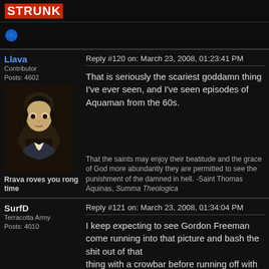STRUNK
[Figure (illustration): Globe/world icon emoji]
Llava
Contributor
Posts: 4602
Reply #120 on: March 23, 2008, 01:23:41 PM
[Figure (illustration): Avatar image of an anime-style character with long dark hair]
Rrava roves you rong time
That is seriously the scariest goddamn thing I've ever seen, and I've seen episodes of Aquaman from the 60s.
That the saints may enjoy their beatitude and the grace of God more abundantly they are permitted to see the punishment of the damned in hell. -Saint Thomas Aquinas, Summa Theologica
SurfD
Terracotta Army
Posts: 4010
Reply #121 on: March 23, 2008, 01:34:04 PM
I keep expecting to see Gordon Freeman come running into that picture and bash the shit out of that thing with a crowbar before running off with a big on his face.